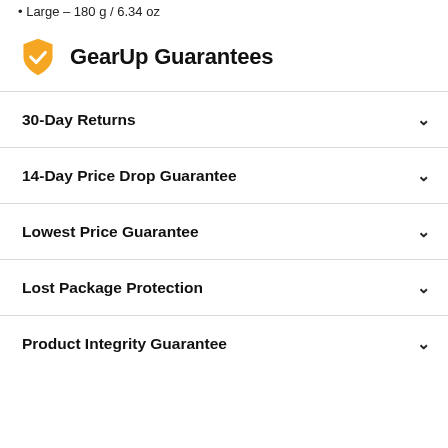Large – 180 g / 6.34 oz
GearUp Guarantees
30-Day Returns
14-Day Price Drop Guarantee
Lowest Price Guarantee
Lost Package Protection
Product Integrity Guarantee